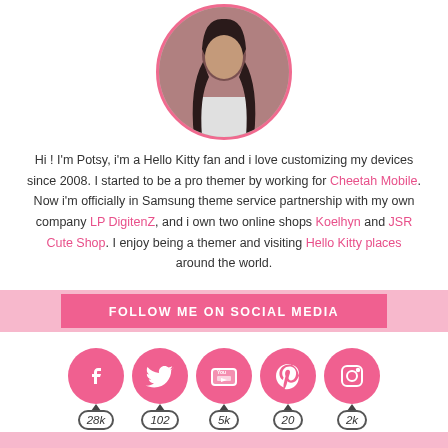[Figure (photo): Circular profile photo of Potsy with pink border, woman with long dark hair wearing a white tank top]
Hi ! I'm Potsy, i'm a Hello Kitty fan and i love customizing my devices since 2008. I started to be a pro themer by working for Cheetah Mobile. Now i'm officially in Samsung theme service partnership with my own company LP DigitenZ, and i own two online shops Koelhyn and JSR Cute Shop. I enjoy being a themer and visiting Hello Kitty places around the world.
FOLLOW ME ON SOCIAL MEDIA
[Figure (infographic): Five pink circular social media icons for Facebook (28k), Twitter (102), YouTube (5k), Pinterest (20), Instagram (2k) with follower counts in rounded rectangle badges below each icon]